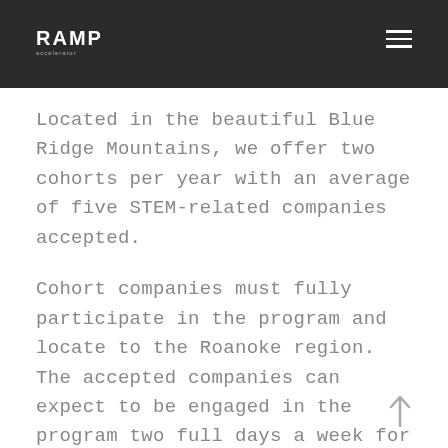RAMP
Located in the beautiful Blue Ridge Mountains, we offer two cohorts per year with an average of five STEM-related companies accepted.
Cohort companies must fully participate in the program and locate to the Roanoke region.  The accepted companies can expect to be engaged in the program two full days a week for the